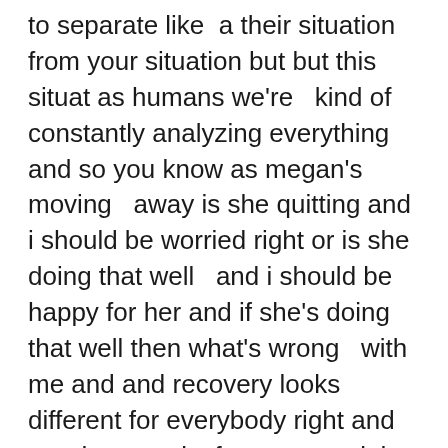to separate like  a their situation from your situation but but this situat as humans we're   kind of constantly analyzing everything and so you know as megan's moving   away is she quitting and i should be worried right or is she doing that well   and i should be happy for her and if she's doing that well then what's wrong   with me and and recovery looks different for everybody right and so what   works for megan might not work for me and that's hard right like that's   that's a challenge for those individuals sorry i didn't mean to talk over you   but i totally resonate with that because i was very much that person it is a self-preservation um when i'm entrenched i get scared when i see